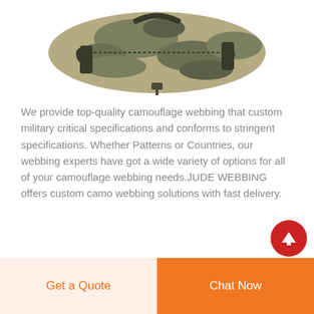[Figure (photo): A camouflage military-style bag or backpack shown from above against a white background, featuring camouflage fabric in tan/green/black pattern with dark straps and buckles.]
We provide top-quality camouflage webbing that custom military critical specifications and conforms to stringent specifications. Whether Patterns or Countries, our webbing experts have got a wide variety of options for all of your camouflage webbing needs.JUDE WEBBING offers custom camo webbing solutions with fast delivery.